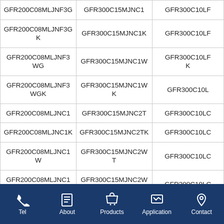| Col1 | Col2 | Col3 |
| --- | --- | --- |
| GFR200C08MLJNF3G | GFR300C15MJNC1 | GFR300C10LF |
| GFR200C08MLJNF3GK | GFR300C15MJNC1K | GFR300C10LF |
| GFR200C08MLJNF3WG | GFR300C15MJNC1W | GFR300C10LFK |
| GFR200C08MLJNF3WGK | GFR300C15MJNC1WK | GFR300C10L |
| GFR200C08MLJNC1 | GFR300C15MJNC2T | GFR300C10LC |
| GFR200C08MLJNC1K | GFR300C15MJNC2TK | GFR300C10LC |
| GFR200C08MLJNC1W | GFR300C15MJNC2WT | GFR300C10LC |
| GFR200C08MLJNC1WK | GFR300C15MJNC2WTK | GFR300C10LC |
| GFR200C08MLJNC2T | GFR300C15MJNC3G | GFR300C10LC |
Tel | About | Products | Application | Contact